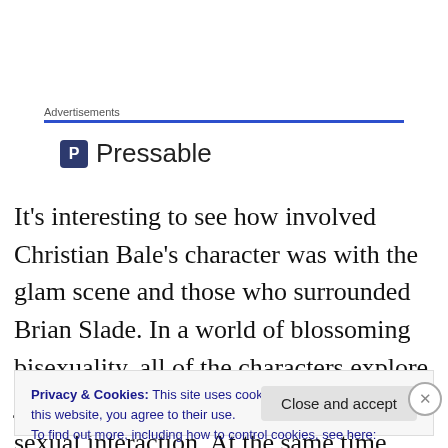Advertisements
[Figure (logo): Pressable logo with blue P icon and text 'Pressable']
It’s interesting to see how involved Christian Bale’s character was with the glam scene and those who surrounded Brian Slade. In a world of blossoming bisexuality, all of the characters explore just what it means to be human through sexual interaction. At the same time
Privacy & Cookies: This site uses cookies. By continuing to use this website, you agree to their use.
To find out more, including how to control cookies, see here: Cookie Policy